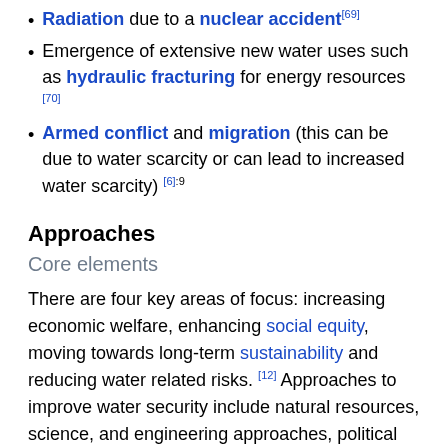Radiation due to a nuclear accident [69]
Emergence of extensive new water uses such as hydraulic fracturing for energy resources [70]
Armed conflict and migration (this can be due to water scarcity or can lead to increased water scarcity) [6]:9
Approaches
Core elements
There are four key areas of focus: increasing economic welfare, enhancing social equity, moving towards long-term sustainability and reducing water related risks. [12] Approaches to improve water security include natural resources, science, and engineering approaches, political and legal tools, economic and financial tools, policy and governance